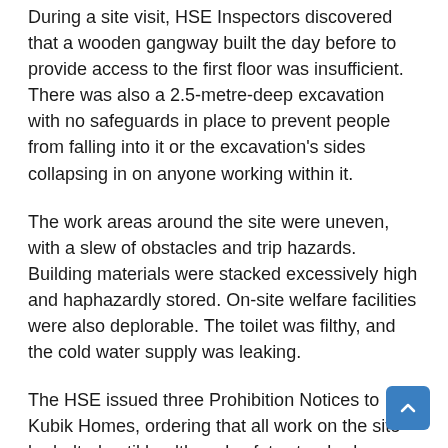During a site visit, HSE Inspectors discovered that a wooden gangway built the day before to provide access to the first floor was insufficient. There was also a 2.5-metre-deep excavation with no safeguards in place to prevent people from falling into it or the excavation's sides collapsing in on anyone working within it.
The work areas around the site were uneven, with a slew of obstacles and trip hazards. Building materials were stacked excessively high and haphazardly stored. On-site welfare facilities were also deplorable. The toilet was filthy, and the cold water supply was leaking.
The HSE issued three Prohibition Notices to Kubik Homes, ordering that all work on the site be halted until health and safety standards were improved. When HSE Inspectors